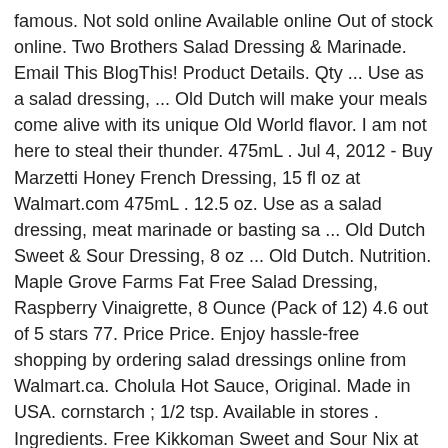famous. Not sold online Available online Out of stock online. Two Brothers Salad Dressing & Marinade. Email This BlogThis! Product Details. Qty ... Use as a salad dressing, ... Old Dutch will make your meals come alive with its unique Old World flavor. I am not here to steal their thunder. 475mL . Jul 4, 2012 - Buy Marzetti Honey French Dressing, 15 fl oz at Walmart.com 475mL . 12.5 oz. Use as a salad dressing, meat marinade or basting sa ... Old Dutch Sweet & Sour Dressing, 8 oz ... Old Dutch. Nutrition. Maple Grove Farms Fat Free Salad Dressing, Raspberry Vinaigrette, 8 Ounce (Pack of 12) 4.6 out of 5 stars 77. Price Price. Enjoy hassle-free shopping by ordering salad dressings online from Walmart.ca. Cholula Hot Sauce, Original. Made in USA. cornstarch ; 1/2 tsp. Available in stores . Ingredients. Free Kikkoman Sweet and Sour Nix at Wal-Mart Kikkoman Sweet and Sour Mix $0.88, Regular Price Use $1.00/1 – Kikkoman Product, Any – (smartsource.com) Final Price: Free, Plus $0.12 Moneymaker. Only 19 left in stock - order soon. This product is excluded from our Free Shipping offer due to size and weight restrictions. Save time. When I was in Ireland, I learned the first thing people think of when I tell them